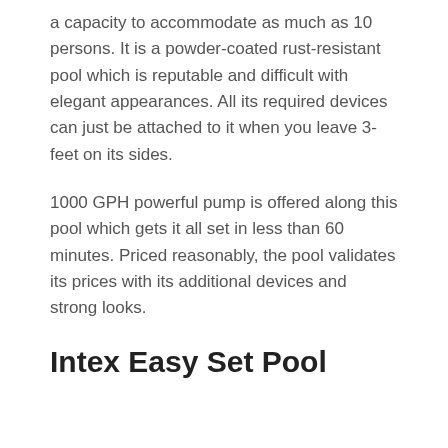a capacity to accommodate as much as 10 persons. It is a powder-coated rust-resistant pool which is reputable and difficult with elegant appearances. All its required devices can just be attached to it when you leave 3-feet on its sides.
1000 GPH powerful pump is offered along this pool which gets it all set in less than 60 minutes. Priced reasonably, the pool validates its prices with its additional devices and strong looks.
Intex Easy Set Pool